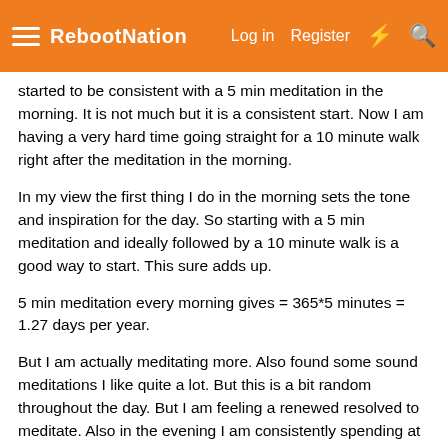RebootNation  Log in  Register
started to be consistent with a 5 min meditation in the morning. It is not much but it is a consistent start. Now I am having a very hard time going straight for a 10 minute walk right after the meditation in the morning.
In my view the first thing I do in the morning sets the tone and inspiration for the day. So starting with a 5 min meditation and ideally followed by a 10 minute walk is a good way to start. This sure adds up.
5 min meditation every morning gives = 365*5 minutes = 1.27 days per year.
But I am actually meditating more. Also found some sound meditations I like quite a lot. But this is a bit random throughout the day. But I am feeling a renewed resolved to meditate. Also in the evening I am consistently spending at least 30 minutes meditating. So this is great.